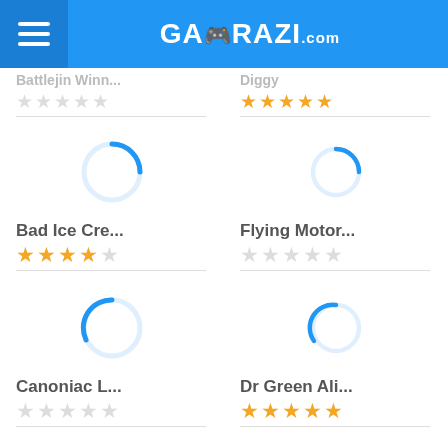GAMERAZI.com
Battlejin Winn... (partially visible, 0 stars)
Diggy (partially visible, 5 stars)
[Figure (illustration): Loading circle spinner for Bad Ice Cre...]
[Figure (illustration): Loading circle spinner for Flying Motor...]
Bad Ice Cre... 4 gold stars
Flying Motor... 0 stars (grey)
[Figure (illustration): Loading circle spinner for Canoniac L...]
[Figure (illustration): Loading circle spinner for Dr Green Ali...]
Canoniac L... 0 stars (grey)
Dr Green Ali... 5 gold stars